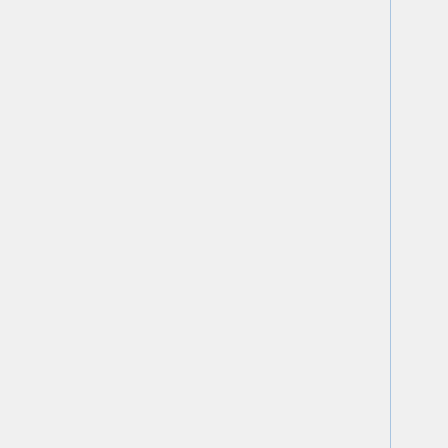| Name | Count | Date |
| --- | --- | --- |
| nig-gr +/- | ? | 2015
0… |
| nsfw-in +/- | ? | 2016
2… |
| oak-ctx-ly +/- | ? | 2016
2… |
| ow-ly +/- | ? | 2022
2… |
| pear-ly +/- | 2,897,989 | 2017
0… |
| ph-ly +/- | ? | 2015
04… |